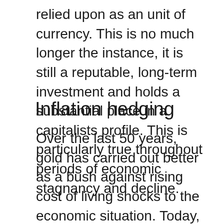relied upon as an unit of currency. This is no much longer the instance, it is still a reputable, long-term investment and holds a substantial place in a capitalists profile. This is particularly true throughout periods of economic stagnancy and decline.
Inflation hedging
Over the last 50 years, gold has carried out better as a bush against rising cost of living shocks to the economic situation. Today, numerous financiers purchase gold as a bush against political chaos as well as inflation. In simple terms, the cost of gold often tends to rise in accordance with the expense of living. This special top quality is what makes gold its location in not only safeguarding sound